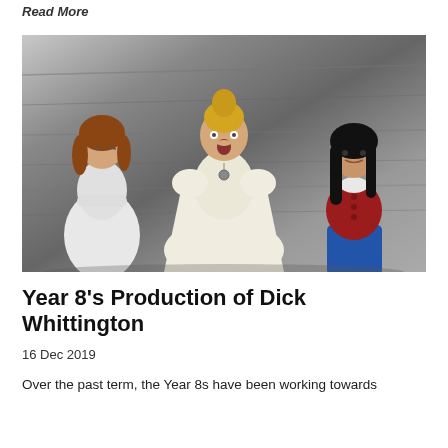Read More
[Figure (photo): Three children in costume on stage for a school production. One child on the left wears a white dress with arms crossed, the centre child wears a white dress with puffed sleeves and has mouth open in expression, and the right child wears a red velvet top with blue trousers and a black wig.]
Year 8's Production of Dick Whittington
16 Dec 2019
Over the past term, the Year 8s have been working towards